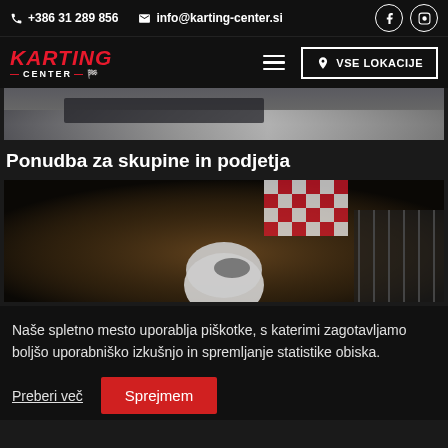+386 31 289 856  info@karting-center.si
[Figure (screenshot): Karting Center logo with navigation bar including hamburger menu and VSE LOKACIJE button]
[Figure (photo): Partial photo of karting track surface at top]
Ponudba za skupine in podjetja
[Figure (photo): Photo of karting race scene with checkered flag and helmeted driver]
Naše spletno mesto uporablja piškotke, s katerimi zagotavljamo boljšo uporabniško izkušnjo in spremljanje statistike obiska.
Preberi več
Sprejmem